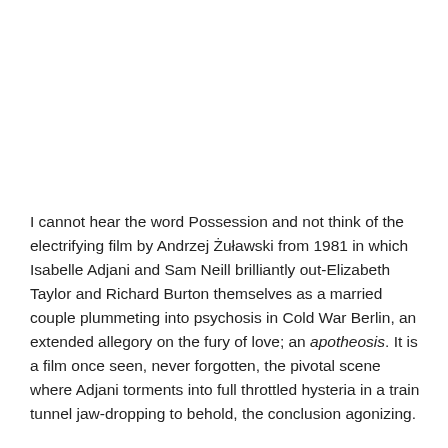I cannot hear the word Possession and not think of the electrifying film by Andrzej Żuławski from 1981 in which Isabelle Adjani and Sam Neill brilliantly out-Elizabeth Taylor and Richard Burton themselves as a married couple plummeting into psychosis in Cold War Berlin, an extended allegory on the fury of love; an apotheosis. It is a film once seen, never forgotten, the pivotal scene where Adjani torments into full throttled hysteria in a train tunnel jaw-dropping to behold, the conclusion agonizing.